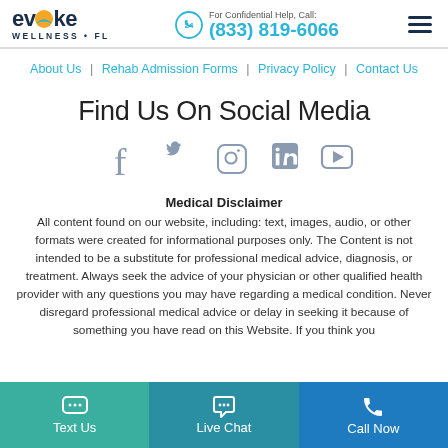Evoke Wellness FL | For Confidential Help, Call: (833) 819-6066
About Us | Rehab Admission Forms | Privacy Policy | Contact Us
Find Us On Social Media
[Figure (illustration): Social media icons: Facebook, Twitter, Instagram, LinkedIn, YouTube]
Medical Disclaimer
All content found on our website, including: text, images, audio, or other formats were created for informational purposes only. The Content is not intended to be a substitute for professional medical advice, diagnosis, or treatment. Always seek the advice of your physician or other qualified health provider with any questions you may have regarding a medical condition. Never disregard professional medical advice or delay in seeking it because of something you have read on this Website. If you think you
Text Us | Live Chat | Call Now